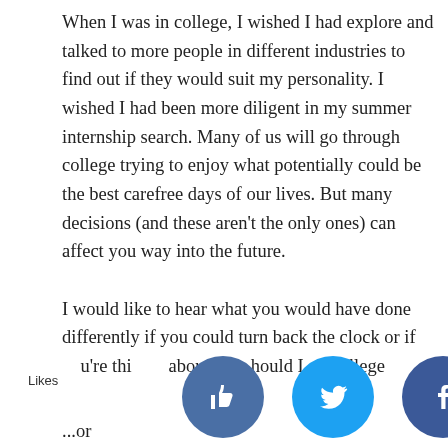When I was in college, I wished I had explore and talked to more people in different industries to find out if they would suit my personality. I wished I had been more diligent in my summer internship search. Many of us will go through college trying to enjoy what potentially could be the best carefree days of our lives. But many decisions (and these aren't the only ones) can affect you way into the future.

I would like to hear what you would have done differently if you could turn back the clock or if you're thinking about whether should I college...
[Figure (infographic): Social sharing bar with Likes label and four circular icon buttons: thumbs-up (dark blue), Twitter bird (light blue), Facebook f (dark blue), and crown/Magoosh (navy blue). Partially overlapping the last line of text.]